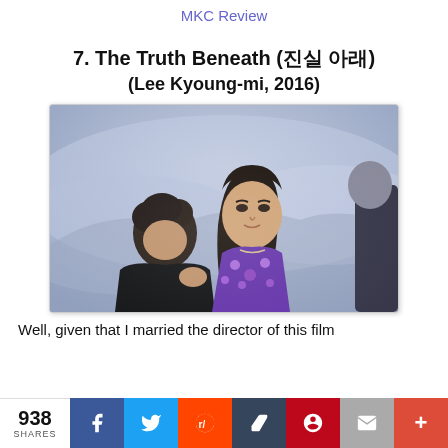MKC Review
7. The Truth Beneath (진실 아래) (Lee Kyoung-mi, 2016)
[Figure (photo): Cinematic still from The Truth Beneath (2016): a young woman in a purple floral top stands in a misty outdoor setting, looking directly at camera with a serious expression, while an older woman bows her head in the foreground.]
Well, given that I married the director of this film
938 SHARES | Facebook | Twitter | Reddit | Tumblr | Pinterest | Email | +